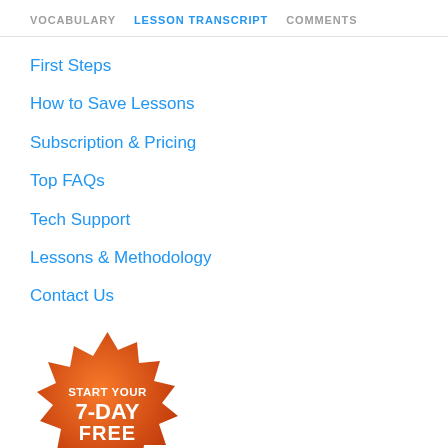VOCABULARY  LESSON TRANSCRIPT  COMMENTS
First Steps
How to Save Lessons
Subscription & Pricing
Top FAQs
Tech Support
Lessons & Methodology
Contact Us
[Figure (illustration): Orange starburst badge with text: START YOUR 7-DAY FREE TRIAL]
FOLLOW US